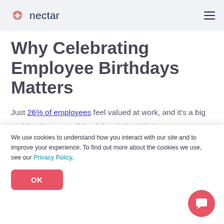nectar
Why Celebrating Employee Birthdays Matters
Just 26% of employees feel valued at work, and it's a big problem because of the tight relationship between employee recognition and employee turnover.
What can you do to make staff feel valued in your
We use cookies to understand how you interact with our site and to improve your experience. To find out more about the cookies we use, see our Privacy Policy.